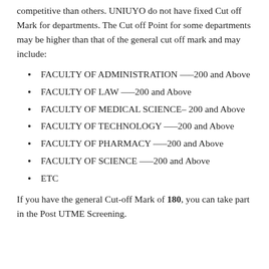competitive than others. UNIUYO do not have fixed Cut off Mark for departments. The Cut off Point for some departments may be higher than that of the general cut off mark and may include:
FACULTY OF ADMINISTRATION —–200 and Above
FACULTY OF LAW —–200 and Above
FACULTY OF MEDICAL SCIENCE– 200 and Above
FACULTY OF TECHNOLOGY —–200 and Above
FACULTY OF PHARMACY —–200 and Above
FACULTY OF SCIENCE —–200 and Above
ETC
If you have the general Cut-off Mark of 180, you can take part in the Post UTME Screening.